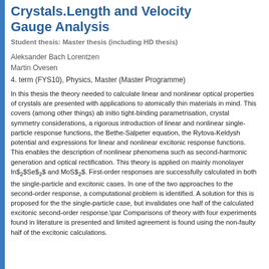Crystals.Length and Velocity Gauge Analysis
Student thesis: Master thesis (including HD thesis)
Aleksander Bach Lorentzen
Martin Ovesen
4. term (FYS10), Physics, Master (Master Programme)
In this thesis the theory needed to calculate linear and nonlinear optical properties of crystals are presented with applications to atomically thin materials in mind. This covers (among other things) ab initio tight-binding parametrisation, crystal symmetry considerations, a rigorous introduction of linear and nonlinear single-particle response functions, the Bethe-Salpeter equation, the Rytova-Keldysh potential and expressions for linear and nonlinear excitonic response functions. This enables the description of nonlinear phenomena such as second-harmonic generation and optical rectification. This theory is applied on mainly monolayer In$_2$Se$_2$ and MoS$_2$. First-order responses are successfully calculated in both the single-particle and excitonic cases. In one of the two approaches to the second-order response, a computational problem is identified. A solution for this is proposed for the the single-particle case, but invalidates one half of the calculated excitonic second-order response.\par Comparisons of theory with four experiments found in literature is presented and limited agreement is found using the non-faulty half of the excitonic calculations.